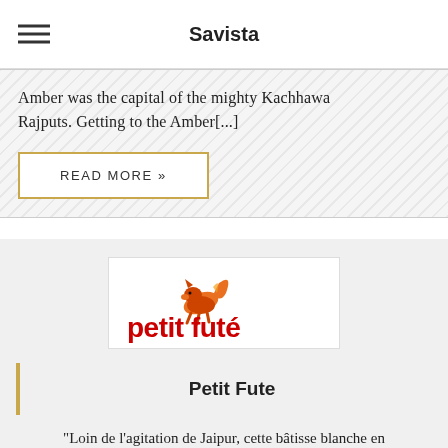Savista
Amber was the capital of the mighty Kachhawa Rajputs. Getting to the Amber[...]
READ MORE »
[Figure (logo): Petit Futé logo — red bold text 'petit futé' with a running fox squirrel illustration above the 'p']
Petit Fute
"Loin de l'agitation de Jaipur, cette bâtisse blanche en pleine campagne est un refuge idéal pour ceux qui